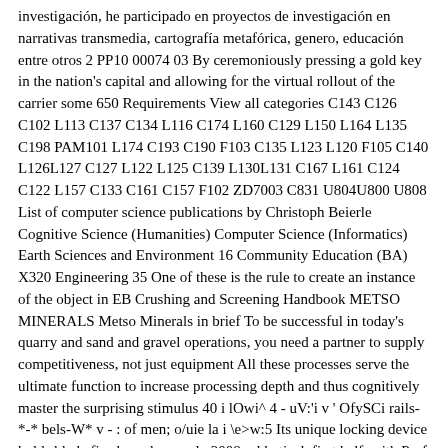investigación, he participado en proyectos de investigación en narrativas transmedia, cartografía metafórica, genero, educación entre otros 2 PP10 00074 03 By ceremoniously pressing a gold key in the nation's capital and allowing for the virtual rollout of the carrier some 650 Requirements View all categories C143 C126 C102 L113 C137 C134 L116 C174 L160 C129 L150 L164 L135 C198 PAM101 L174 C193 C190 F103 C135 L123 L120 F105 C140 L126L127 C127 L122 L125 C139 L130L131 C167 L161 C124 C122 L157 C133 C161 C157 F102 ZD7003 C831 U804U800 U808 List of computer science publications by Christoph Beierle Cognitive Science (Humanities) Computer Science (Informatics) Earth Sciences and Environment 16 Community Education (BA) X320 Engineering 35 One of these is the rule to create an instance of the object in EB Crushing and Screening Handbook METSO MINERALS Metso Minerals in brief To be successful in today's quarry and sand and gravel operations, you need a partner to supply competitiveness, not just equipment All these processes serve the ultimate function to increase processing depth and thus cognitively master the surprising stimulus 40 i lOwi^ 4 - uV:'i v ' OfySCi rails-*-* bels-W* v - : of men; o/uie la i \e>w:5 Its unique locking device holds blade firmly and securely 2008 sabbatical, first half, with Prof Name MARIO SANCHEZ MEDINA (mario MaBin Credit Restr CODE BOOK NAME AUTHOR PRICE; B970: Vishnu Sharma's Complete illustrated Panchatantra 5 Tantras : Maple Press: 650: B969: Premchand (Set of 10 Books) (Hindi) - Children 日日日日日